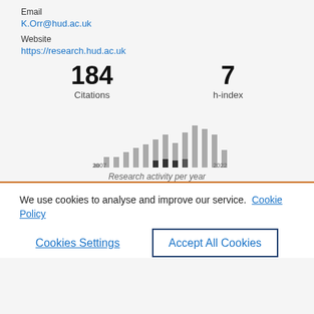Email
K.Orr@hud.ac.uk
Website
https://research.hud.ac.uk
184
Citations
7
h-index
[Figure (bar-chart): Research activity per year]
Research activity per year
We use cookies to analyse and improve our service. Cookie Policy
Cookies Settings
Accept All Cookies